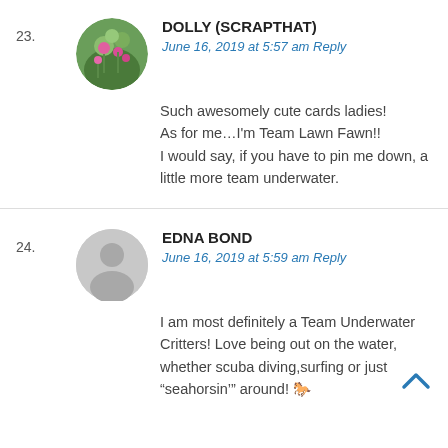[Figure (photo): Circular avatar photo of Dolly (ScraptHat) showing pink flowers and green foliage]
DOLLY (SCRAPTHAT)
June 16, 2019 at 5:57 am Reply
23.
Such awesomely cute cards ladies!
As for me…I'm Team Lawn Fawn!!
I would say, if you have to pin me down, a little more team underwater.
[Figure (illustration): Default gray avatar placeholder for Edna Bond]
EDNA BOND
June 16, 2019 at 5:59 am Reply
24.
I am most definitely a Team Underwater Critters! Love being out on the water, whether scuba diving,surfing or just “seahorsin’” around! 🐎